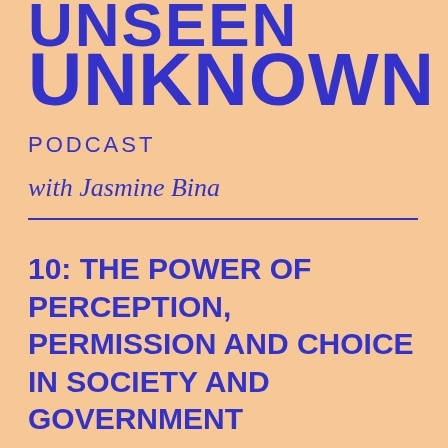UNSEEN UNKNOWN
PODCAST
with Jasmine Bina
10: THE POWER OF PERCEPTION, PERMISSION AND CHOICE IN SOCIETY AND GOVERNMENT